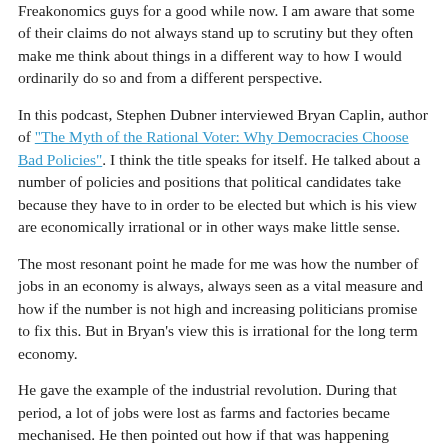Freakonomics guys for a good while now. I am aware that some of their claims do not always stand up to scrutiny but they often make me think about things in a different way to how I would ordinarily do so and from a different perspective.
In this podcast, Stephen Dubner interviewed Bryan Caplin, author of "The Myth of the Rational Voter: Why Democracies Choose Bad Policies". I think the title speaks for itself. He talked about a number of policies and positions that political candidates take because they have to in order to be elected but which is his view are economically irrational or in other ways make little sense.
The most resonant point he made for me was how the number of jobs in an economy is always, always seen as a vital measure and how if the number is not high and increasing politicians promise to fix this. But in Bryan's view this is irrational for the long term economy.
He gave the example of the industrial revolution. During that period, a lot of jobs were lost as farms and factories became mechanised. He then pointed out how if that was happening today, there would be a huge outcry from the voters about